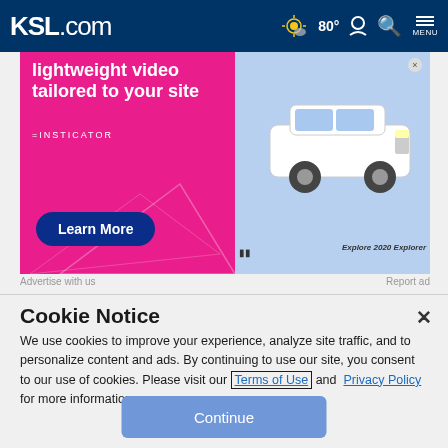KSL.com  80°  Search  Account  MENU
[Figure (screenshot): Advertisement banner for Insticator: 'lightweight video tailored to your site' with a Learn More button and Ford Explorer 2020 video preview]
Advertise with us    Report ad
Cookie Notice
We use cookies to improve your experience, analyze site traffic, and to personalize content and ads. By continuing to use our site, you consent to our use of cookies. Please visit our Terms of Use and  Privacy Policy for more information.
[Figure (other): Continue button]
Continue